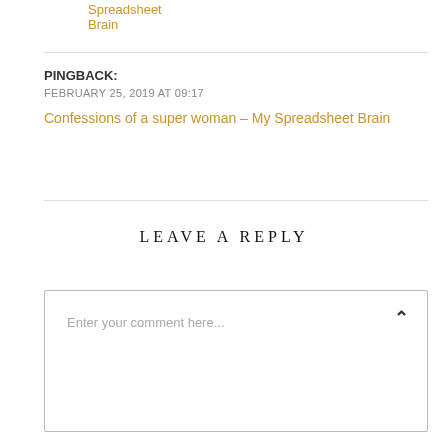Spreadsheet Brain
PINGBACK:
FEBRUARY 25, 2019 AT 09:17
Confessions of a super woman - My Spreadsheet Brain
LEAVE A REPLY
Enter your comment here...